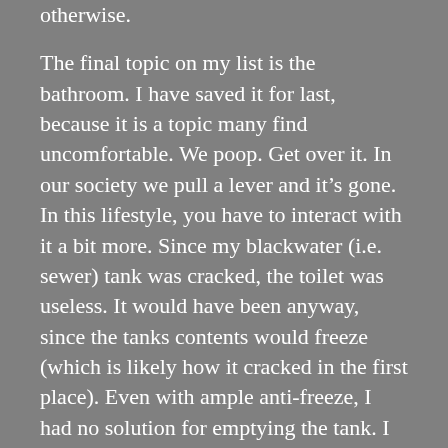otherwise.
The final topic on my list is the bathroom. I have saved it for last, because it is a topic many find uncomfortable. We poop. Get over it. In our society we pull a lever and it’s gone. In this lifestyle, you have to interact with it a bit more. Since my blackwater (i.e. sewer) tank was cracked, the toilet was useless. It would have been anyway, since the tanks contents would freeze (which is likely how it cracked in the first place). Even with ample anti-freeze, I had no solution for emptying the tank. I removed the tank and toilet, and put in a porta potty. There is much to be discussed about this matter, and it’s future, in posts to come.